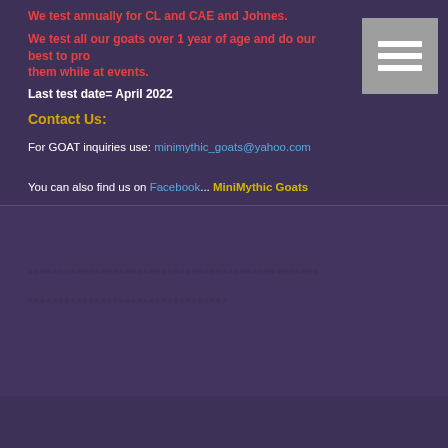We test annually for CL and CAE and Johnes.
We test all our goats over 1 year of age and do our best to protect them while at events.
Last test date= April 2022
Contact Us:
For GOAT inquiries use: minimythic_goats@yahoo.com
You can also find us on Facebook... MiniMythic Goats
************************************************
*********************************